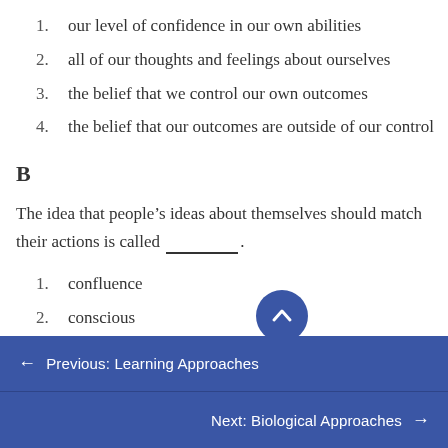1. our level of confidence in our own abilities
2. all of our thoughts and feelings about ourselves
3. the belief that we control our own outcomes
4. the belief that our outcomes are outside of our control
B
The idea that people’s ideas about themselves should match their actions is called ________.
1. confluence
2. conscious
← Previous: Learning Approaches
Next: Biological Approaches →